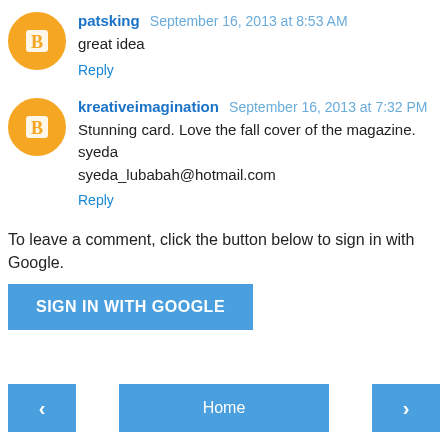patsking September 16, 2013 at 8:53 AM
great idea
Reply
kreativeimagination September 16, 2013 at 7:32 PM
Stunning card. Love the fall cover of the magazine.
syeda
syeda_lubabah@hotmail.com
Reply
To leave a comment, click the button below to sign in with Google.
SIGN IN WITH GOOGLE
Home
‹
›